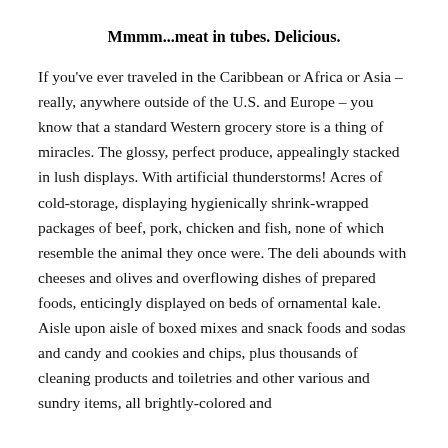Mmmm...meat in tubes. Delicious.
If you've ever traveled in the Caribbean or Africa or Asia – really, anywhere outside of the U.S. and Europe – you know that a standard Western grocery store is a thing of miracles. The glossy, perfect produce, appealingly stacked in lush displays. With artificial thunderstorms! Acres of cold-storage, displaying hygienically shrink-wrapped packages of beef, pork, chicken and fish, none of which resemble the animal they once were. The deli abounds with cheeses and olives and overflowing dishes of prepared foods, enticingly displayed on beds of ornamental kale.  Aisle upon aisle of boxed mixes and snack foods and sodas and candy and cookies and chips, plus thousands of cleaning products and toiletries and other various and sundry items, all brightly-colored and